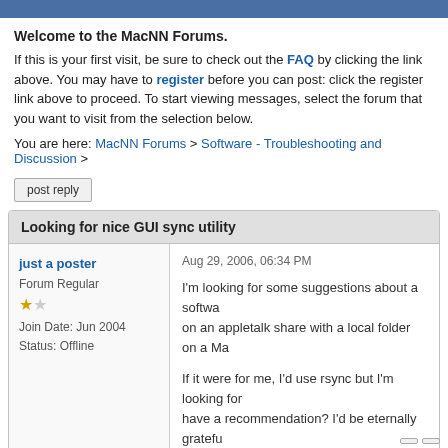Welcome to the MacNN Forums.
If this is your first visit, be sure to check out the FAQ by clicking the link above. You may have to register before you can post: click the register link above to proceed. To start viewing messages, select the forum that you want to visit from the selection below.
You are here: MacNN Forums > Software - Troubleshooting and Discussion >
post reply
Looking for nice GUI sync utility
just a poster
Forum Regular
Join Date: Jun 2004
Status: Offline
Aug 29, 2006, 06:34 PM
I'm looking for some suggestions about a software on an appletalk share with a local folder on a Ma
If it were for me, I'd use rsync but I'm looking for have a recommendation? I'd be eternally gratefu
post reply